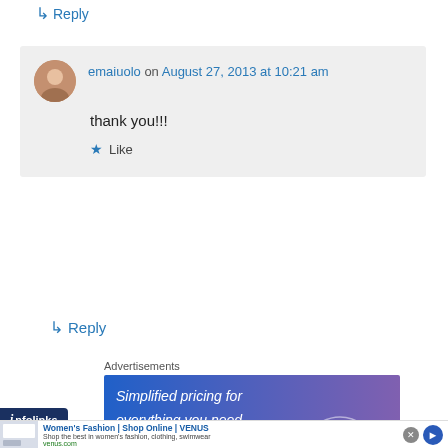↳ Reply
emaiuolo on August 27, 2013 at 10:21 am
thank you!!!
★ Like
↳ Reply
Advertisements
[Figure (illustration): Advertisement banner with gradient blue-purple background showing text 'Simplified pricing for everything you need.' with infolinks badge overlay]
[Figure (illustration): Bottom banner ad for Women's Fashion | Shop Online | VENUS with close button and arrow circle]